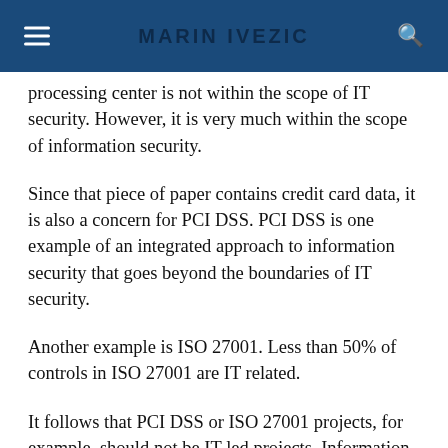MARIN IVEZIC
processing center is not within the scope of IT security. However, it is very much within the scope of information security.
Since that piece of paper contains credit card data, it is also a concern for PCI DSS. PCI DSS is one example of an integrated approach to information security that goes beyond the boundaries of IT security.
Another example is ISO 27001. Less than 50% of controls in ISO 27001 are IT related.
It follows that PCI DSS or ISO 27001 projects, for example, should not be IT-led projects. Information risks are business risks and these projects should ideally be business-led